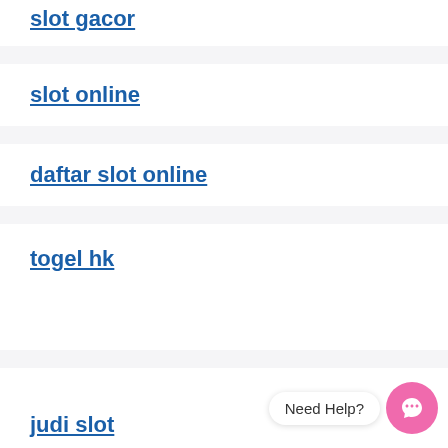slot gacor
slot online
daftar slot online
togel hk
judi slot
Need Help?